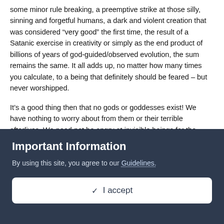some minor rule breaking, a preemptive strike at those silly, sinning and forgetful humans, a dark and violent creation that was considered “very good” the first time, the result of a Satanic exercise in creativity or simply as the end product of billions of years of god-guided/observed evolution, the sum remains the same. It all adds up, no matter how many times you calculate, to a being that definitely should be feared – but never worshipped.
It’s a good thing then that no gods or goddesses exist! We have nothing to worry about from them or their terrible afterlives. We need not be angry at invisible beings for the situation we find ourselves in, living on a fragile, spinning blue ball hurtling through space. They had no hand in it and made not even the tiniest virus nor the biggest whale. Our godless universe, from the Big Bang onward, evolved all on its own without ever needing anything from our completely impotent anthropic creations! Likewise, we arose from the same natural
Important Information
By using this site, you agree to our Guidelines.
✓  I accept